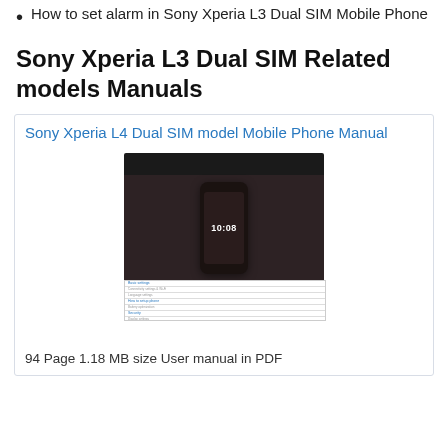How to set alarm in Sony Xperia L3 Dual SIM Mobile Phone
Sony Xperia L3 Dual SIM Related models Manuals
[Figure (other): Card showing Sony Xperia L4 Dual SIM model Mobile Phone Manual with a thumbnail image of the manual cover and a table of contents preview]
94 Page 1.18 MB size User manual in PDF